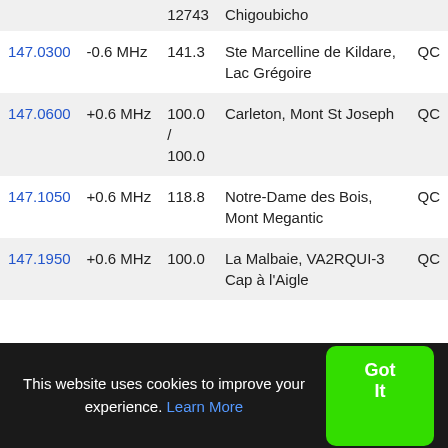| Frequency | Offset | Tone | Location | State |
| --- | --- | --- | --- | --- |
| 147.0300 | -0.6 MHz | 141.3 | Ste Marcelline de Kildare, Lac Grégoire | QC |
| 147.0600 | +0.6 MHz | 100.0 / 100.0 | Carleton, Mont St Joseph | QC |
| 147.1050 | +0.6 MHz | 118.8 | Notre-Dame des Bois, Mont Megantic | QC |
| 147.1950 | +0.6 MHz | 100.0 | La Malbaie, VA2RQUI-3 Cap à l'Aigle | QC |
This website uses cookies to improve your experience. Learn More